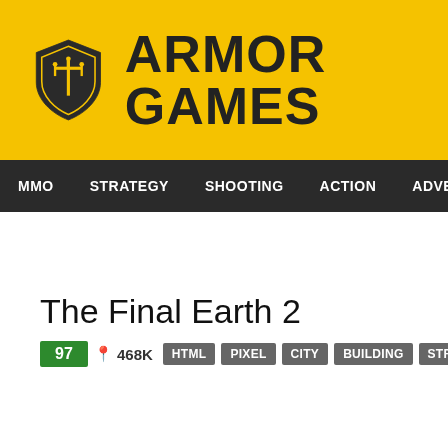[Figure (logo): Armor Games logo with yellow background, shield icon and bold text ARMOR GAMES]
MMO  STRATEGY  SHOOTING  ACTION  ADVENTURE  P
The Final Earth 2
97  468K  HTML  PIXEL  CITY  BUILDING  STRATEGY